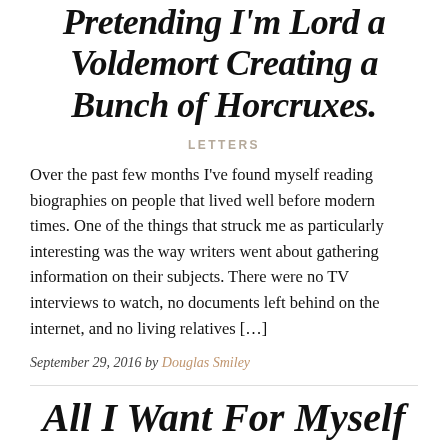Pretending I'm Lord a Voldemort Creating a Bunch of Horcruxes.
LETTERS
Over the past few months I've found myself reading biographies on people that lived well before modern times. One of the things that struck me as particularly interesting was the way writers went about gathering information on their subjects. There were no TV interviews to watch, no documents left behind on the internet, and no living relatives […]
September 29, 2016 by Douglas Smiley
All I Want For Myself